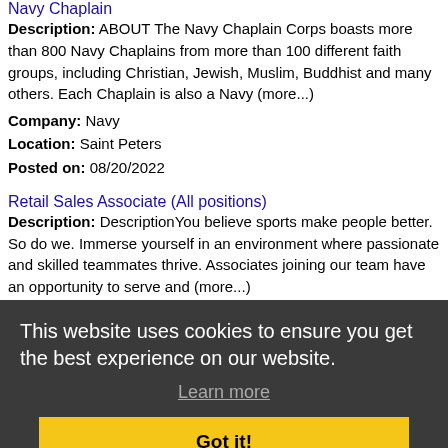Navy Chaplain
Description: ABOUT The Navy Chaplain Corps boasts more than 800 Navy Chaplains from more than 100 different faith groups, including Christian, Jewish, Muslim, Buddhist and many others. Each Chaplain is also a Navy (more...)
Company: Navy
Location: Saint Peters
Posted on: 08/20/2022
Retail Sales Associate (All positions)
Description: DescriptionYou believe sports make people better. So do we. Immerse yourself in an environment where passionate and skilled teammates thrive. Associates joining our team have an opportunity to serve and (more...)
Company: DICK'S Sporting Goods
Location: Saint Peters
Posted on:
This website uses cookies to ensure you get the best experience on our website.
Learn more
Got it!
Log In or Create An Account
Loading more jobs...
H